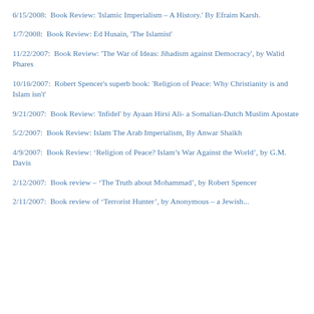6/15/2008:  Book Review: 'Islamic Imperialism – A History.' By Efraim Karsh.
1/7/2008:  Book Review: Ed Husain, 'The Islamist'
11/22/2007:  Book Review: 'The War of Ideas: Jihadism against Democracy', by Walid Phares
10/16/2007:  Robert Spencer's superb book: 'Religion of Peace: Why Christianity is and Islam isn't'
9/21/2007:  Book Review: 'Infidel' by Ayaan Hirsi Ali- a Somalian-Dutch Muslim Apostate
5/2/2007:  Book Review: Islam The Arab Imperialism, By Anwar Shaikh
4/9/2007:  Book Review: ‘Religion of Peace? Islam’s War Against the World’, by G.M. Davis
2/12/2007:  Book review – ‘The Truth about Mohammad’, by Robert Spencer
2/11/2007:  Book review of ‘Terrorist Hunter’, by Anonymous – a Jewish...